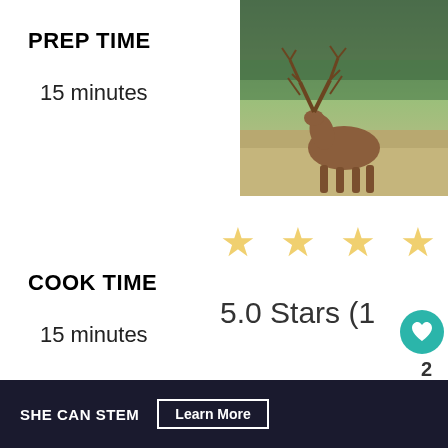PREP TIME
15 minutes
[Figure (photo): An elk standing in a field with trees in the background]
[Figure (other): Five gold star rating icons]
COOK TIME
15 minutes
5.0 Stars (1
TOTAL TIME
30 minutes
Review)
[Figure (infographic): WHAT'S NEXT -> What Does Bear Meat... banner with thumbnail]
Print
SHE CAN STEM  Learn More